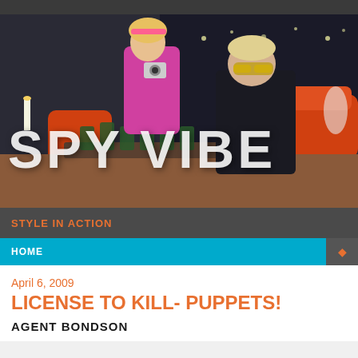[Figure (photo): Screenshot of Spy Vibe website header showing a retro spy scene with a woman in pink holding a camera and a man in dark clothing with yellow tinted sunglasses, with 'SPY VIBE' text overlay]
STYLE IN ACTION
HOME
April 6, 2009
LICENSE TO KILL- PUPPETS!
AGENT BONDSON